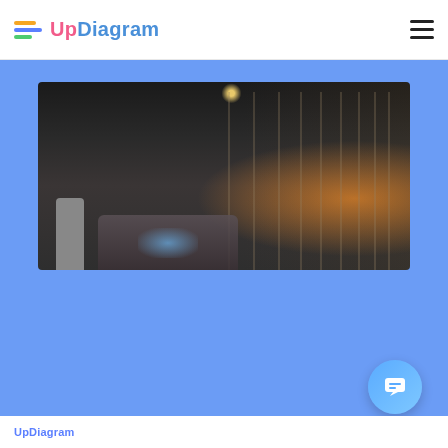UpDiagram
[Figure (photo): Dark office interior with people seated at tables with laptops, glass partition walls on the right side, ceiling spotlight, warm glow in background corridor]
UpDiagram (partial bottom text, partially cut off)